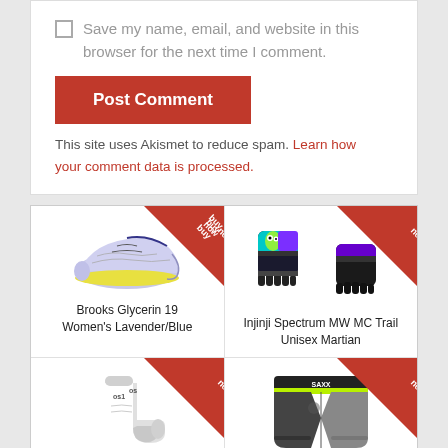Save my name, email, and website in this browser for the next time I comment.
Post Comment
This site uses Akismet to reduce spam. Learn how your comment data is processed.
[Figure (photo): Brooks Glycerin 19 Women's Lavender/Blue running shoe with buy now badge]
Brooks Glycerin 19 Women's Lavender/Blue
[Figure (photo): Injinji Spectrum MW MC Trail Unisex Martian toe socks with buy now badge]
Injinji Spectrum MW MC Trail Unisex Martian
[Figure (photo): OS1st Plantar Fasciitis Sock with buy now badge]
OS1st Plantar Fasciitis Sock
[Figure (photo): SAXX Sport Mesh 5" Boxer Brief with buy now badge]
SAXX Sport Mesh 5" Boxer Brief